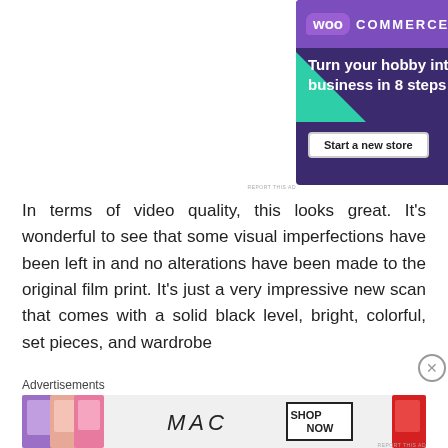[Figure (screenshot): WooCommerce advertisement with dark purple background, green triangle shape, teal circle, WooCommerce logo, tagline 'Turn your hobby into a business in 8 steps', and 'Start a new store' button]
In terms of video quality, this looks great. It's wonderful to see that some visual imperfections have been left in and no alterations have been made to the original film print. It's just a very impressive new scan that comes with a solid black level, bright, colorful, set pieces, and wardrobe
Advertisements
[Figure (screenshot): MAC cosmetics advertisement showing colorful lipsticks on left, MAC logo in italic script, and 'SHOP NOW' button on right]